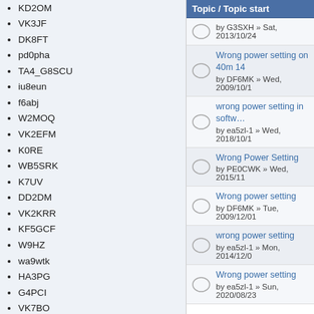KD2OM
VK3JF
DK8FT
pd0pha
TA4_G8SCU
iu8eun
f6abj
W2MOQ
VK2EFM
K0RE
WB5SRK
K7UV
DD2DM
VK2KRR
KF5GCF
W9HZ
wa9wtk
HA3PG
G4PCI
VK7BO
zl2mws
kj6wsm
kd9lok
WY8R
g3jkf
G4PMB
Topic / Topic start
by G3SXH » Sat, 2013/10/24
Wrong power setting on 40m 14
by DF6MK » Wed, 2009/10/1
wrong power setting in softw…
by ea5zl-1 » Wed, 2018/10/1
Wrong Power Setting
by PE0CWK » Wed, 2015/11
Wrong power setting
by DF6MK » Tue, 2009/12/01
wrong power setting
by ea5zl-1 » Mon, 2014/12/0
Wrong power setting
by ea5zl-1 » Sun, 2020/08/23